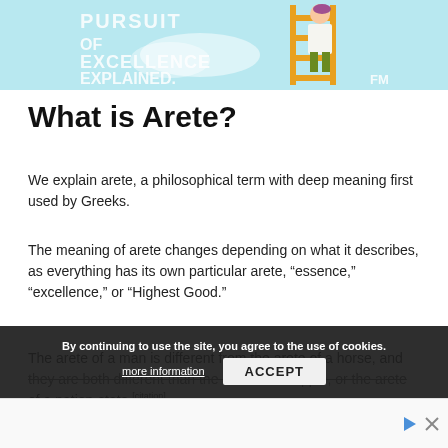[Figure (illustration): Illustration showing text 'PURSUIT OF EXCELLENCE EXPLAINED.' with a cartoon figure of a person climbing a ladder against a light blue background, with '.FM' logo]
What is Arete?
We explain arete, a philosophical term with deep meaning first used by Greeks.
The meaning of arete changes depending on what it describes, as everything has its own particular arete, “essence,” “excellence,” or “Highest Good.”
The arete of a man is different from the arete of a horse, and they are both different than the arete of an apple, or the arete of a nation-state.[citation]
By continuing to use the site, you agree to the use of cookies.
more information
ACCEPT